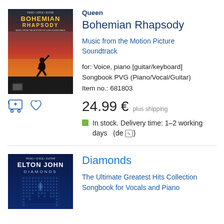[Figure (illustration): Bohemian Rhapsody music book cover with orange/red background showing silhouette of Freddie Mercury performing]
Queen
Bohemian Rhapsody
Music from the Motion Picture Soundtrack
for: Voice, piano [guitar/keyboard]
Songbook PVG (Piano/Vocal/Guitar)
Item no.: 681803
24.99 € plus shipping
In stock. Delivery time: 1–2 working days (de ✏)
[Figure (illustration): Elton John Diamonds music book cover with dark blue background and geometric diamond pattern]
Diamonds
The Ultimate Greatest Hits Collection Songbook for Vocals and Piano